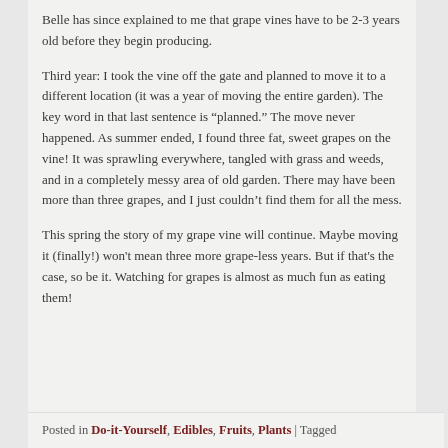Belle has since explained to me that grape vines have to be 2-3 years old before they begin producing.
Third year: I took the vine off the gate and planned to move it to a different location (it was a year of moving the entire garden). The key word in that last sentence is “planned.” The move never happened. As summer ended, I found three fat, sweet grapes on the vine! It was sprawling everywhere, tangled with grass and weeds, and in a completely messy area of old garden. There may have been more than three grapes, and I just couldn’t find them for all the mess.
This spring the story of my grape vine will continue. Maybe moving it (finally!) won’t mean three more grape-less years. But if that’s the case, so be it. Watching for grapes is almost as much fun as eating them!
Posted in Do-it-Yourself, Edibles, Fruits, Plants | Tagged